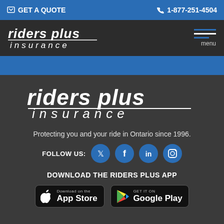GET A QUOTE   1-877-251-4504
[Figure (logo): Riders Plus Insurance logo - top navigation bar, white italic text on dark background]
[Figure (logo): Hamburger menu icon with three lines (blue, white, blue) and 'menu' label]
[Figure (logo): Riders Plus Insurance large footer logo - white italic text on dark background]
Protecting you and your ride in Ontario since 1996.
FOLLOW US:
DOWNLOAD THE RIDERS PLUS APP
[Figure (screenshot): App Store and Google Play download buttons side by side]